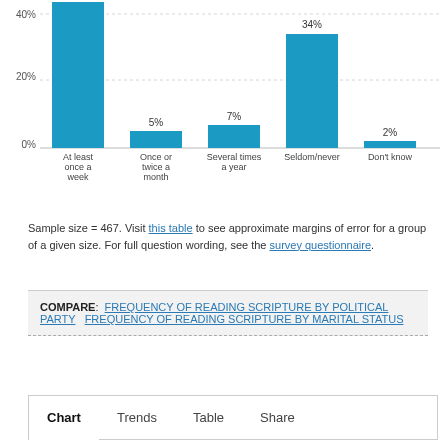[Figure (bar-chart): ]
Sample size = 467. Visit this table to see approximate margins of error for a group of a given size. For full question wording, see the survey questionnaire.
COMPARE: FREQUENCY OF READING SCRIPTURE BY POLITICAL PARTY  FREQUENCY OF READING SCRIPTURE BY MARITAL STATUS
Chart  Trends  Table  Share